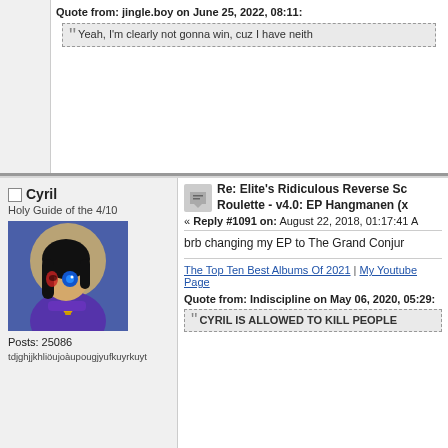Quote from: jingle.boy on June 25, 2022, 08:11:
Yeah, I'm clearly not gonna win, cuz I have neith
Cyril
Holy Guide of the 4/10
[Figure (illustration): Avatar of user Cyril showing an anime-style character with black hair, blue eye, red markings, wearing purple, with a yellow bell, against a blue background]
Posts: 25086
tdjghjjkhliöujoàupougjyufkuyrkuyt
Re: Elite's Ridiculous Reverse Sc Roulette - v4.0: EP Hangmanen (x
« Reply #1091 on: August 22, 2018, 01:17:41 A
brb changing my EP to The Grand Conjur
The Top Ten Best Albums Of 2021 | My Youtube Page
Quote from: Indiscipline on May 06, 2020, 05:29:
CYRIL IS ALLOWED TO KILL PEOPLE
ariich
Roulette Supervillain
Global Moderator
Re: Elite's Ridiculous Reverse Sc Roulette - v4.0: EP Hangmanen (x
« Reply #1092 on: August 22, 2018, 01:36:09 A
Quote from: Parama on August 22, 2018, 01:17: